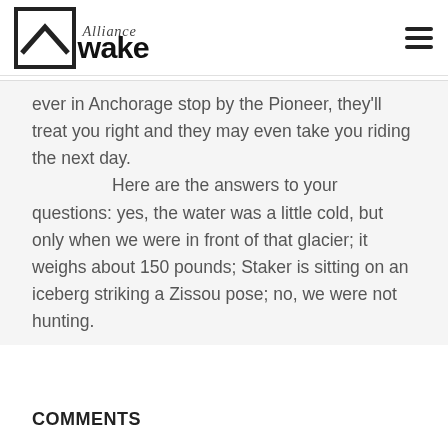Alliance Wake
ever in Anchorage stop by the Pioneer, they'll treat you right and they may even take you riding the next day.

Here are the answers to your questions: yes, the water was a little cold, but only when we were in front of that glacier; it weighs about 150 pounds; Staker is sitting on an iceberg striking a Zissou pose; no, we were not hunting.
COMMENTS